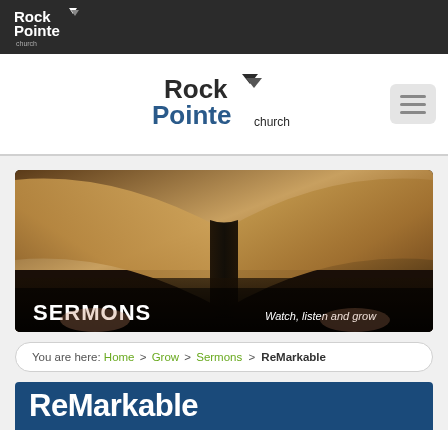Rock Pointe Church - top navigation bar logo
[Figure (logo): Rock Pointe Church logo in white on dark background header]
[Figure (logo): Rock Pointe Church main logo in blue and black on white background]
[Figure (screenshot): Sermons banner image showing an open Bible with text 'SERMONS' on the left and 'Watch, listen and grow' on the right]
You are here: Home > Grow > Sermons > ReMarkable
ReMarkable